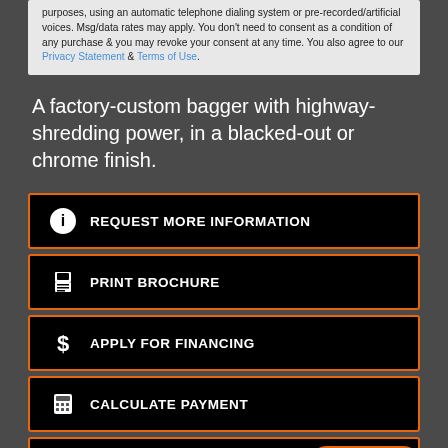purposes, using an automatic telephone dialing system or pre-recorded/artificial voices. Msg/data rates may apply. You don't need to consent as a condition of any purchase & you may revoke your consent at any time. You also agree to our Privacy Statement & Terms of Use.
A factory-custom bagger with highway-shredding power, in a blacked-out or chrome finish.
REQUEST MORE INFORMATION
PRINT BROCHURE
APPLY FOR FINANCING
CALCULATE PAYMENT
SCHEDULE A TEST RIDE
Text us!